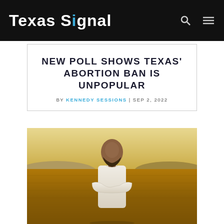Texas Signal
NEW POLL SHOWS TEXAS' ABORTION BAN IS UNPOPULAR
BY KENNEDY SESSIONS | SEP 2, 2022
[Figure (photo): A bald man with a beard wearing a white long-sleeve shirt, arms crossed, standing in a golden field with hills and warm sunset light in the background.]